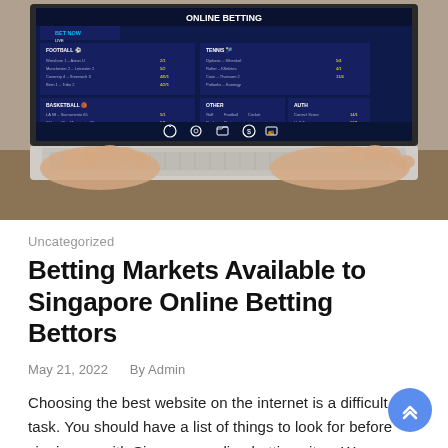[Figure (photo): Person typing on a laptop displaying an online betting website interface with sports betting markets including football, tennis, basketball, and others, with icons for various features at the bottom of the screen.]
Uncategorized
Betting Markets Available to Singapore Online Betting Bettors
May 21, 2022   By Admin
Choosing the best website on the internet is a difficult task. You should have a list of things to look for before signing up with Singapore online betting sites. We